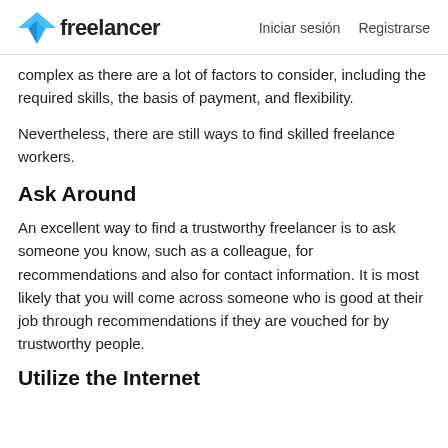freelancer  Iniciar sesión  Registrarse
complex as there are a lot of factors to consider, including the required skills, the basis of payment, and flexibility.
Nevertheless, there are still ways to find skilled freelance workers.
Ask Around
An excellent way to find a trustworthy freelancer is to ask someone you know, such as a colleague, for recommendations and also for contact information. It is most likely that you will come across someone who is good at their job through recommendations if they are vouched for by trustworthy people.
Utilize the Internet